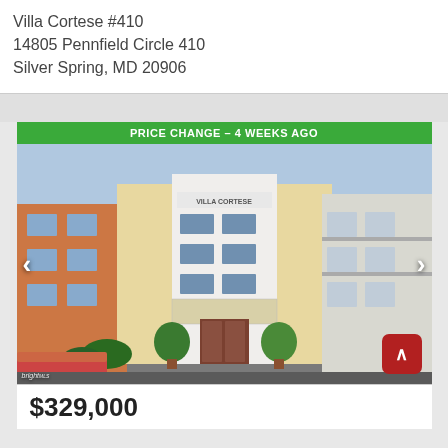Villa Cortese #410
14805 Pennfield Circle 410
Silver Spring, MD 20906
[Figure (photo): Exterior photo of Villa Cortese condominium building, showing a multi-story beige and white facade with 'VILLA CORTESE' sign above the entrance, decorative topiary bushes, red-brick driveway, and adjacent orange and white buildings. Green banner at top reads 'PRICE CHANGE - 4 WEEKS AGO'. Navigation arrows on left and right sides. Bright MLS watermark at bottom left. Red scroll-to-top button at bottom right.]
$329,000